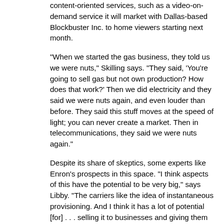content-oriented services, such as a video-on-demand service it will market with Dallas-based Blockbuster Inc. to home viewers starting next month.
"When we started the gas business, they told us we were nuts," Skilling says. "They said, 'You're going to sell gas but not own production? How does that work?' Then we did electricity and they said we were nuts again, and even louder than before. They said this stuff moves at the speed of light; you can never create a market. Then in telecommunications, they said we were nuts again."
Despite its share of skeptics, some experts like Enron's prospects in this space. "I think aspects of this have the potential to be very big," says Libby. "The carriers like the idea of instantaneous provisioning. And I think it has a lot of potential [for] . . . selling it to businesses and giving them the ability to cut their costs significantly by buying it as they